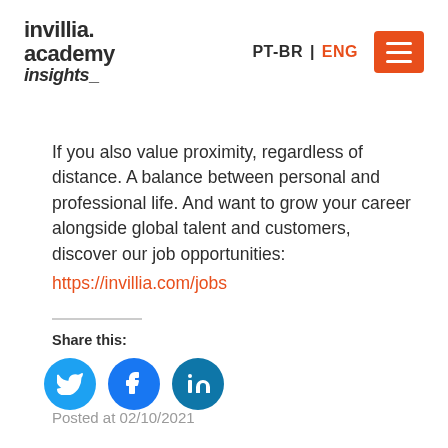invillia. academy insights_   PT-BR | ENG
If you also value proximity, regardless of distance. A balance between personal and professional life. And want to grow your career alongside global talent and customers, discover our job opportunities: https://invillia.com/jobs
Share this:
[Figure (other): Three circular social media share buttons: Twitter (blue), Facebook (blue), LinkedIn (teal-blue)]
Posted at 02/10/2021